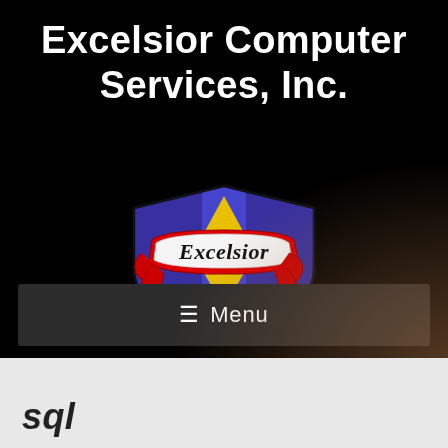Excelsior Computer Services, Inc.
[Figure (logo): Excelsior shield logo: a blue/purple heraldic shield with yellow fleur-de-lis, overlaid by a red-bordered white ribbon banner with 'Excelsior' in black italic text]
≡ Menu
sql